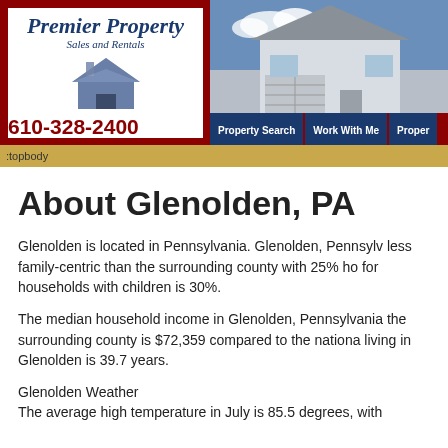[Figure (logo): Premier Property Sales and Rentals logo with house icon]
[Figure (photo): Photo of a house exterior, partially visible on the right side of the header]
610-328-2400
Property Search | Work With Me | Proper
:topbody
About Glenolden, PA
Glenolden is located in Pennsylvania. Glenolden, Pennsylv... less family-centric than the surrounding county with 25% ho... for households with children is 30%.
The median household income in Glenolden, Pennsylvania... the surrounding county is $72,359 compared to the nationa... living in Glenolden is 39.7 years.
Glenolden Weather
The average high temperature in July is 85.5 degrees, with